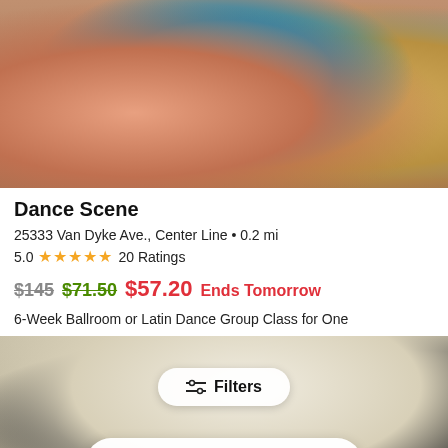[Figure (photo): People dancing ballroom/latin dance in a studio, multiple couples visible]
Dance Scene
25333 Van Dyke Ave., Center Line • 0.2 mi
5.0 ★★★★★ 20 Ratings
$145 $71.50 $57.20 Ends Tomorrow
6-Week Ballroom or Latin Dance Group Class for One
[Figure (photo): Dance couple performing, woman in white dress, man in black; Filters button and Open in app banner overlaid]
Filters
Open in app